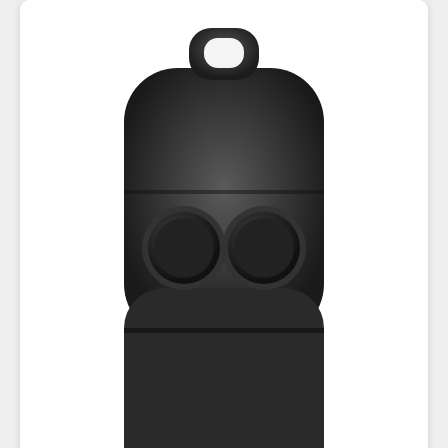[Figure (photo): Black plastic two-button remote key housing/fob for Range Rover and Land Rover vehicles. The housing is rounded rectangular with a loop handle at top and two large circular buttons.]
Range Rover, Land Rover compatible 2 button remote housing
KGRR06